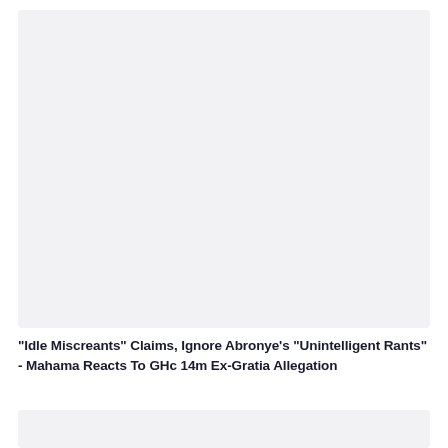[Figure (other): Light gray placeholder image box (top)]
"Idle Miscreants" Claims, Ignore Abronye's "Unintelligent Rants" - Mahama Reacts To GHc 14m Ex-Gratia Allegation
[Figure (other): Light gray placeholder image box (bottom, partially visible)]